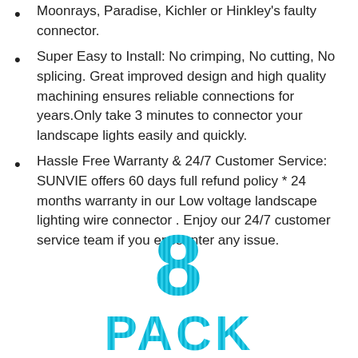Moonrays, Paradise, Kichler or Hinkley's faulty connector.
Super Easy to Install: No crimping, No cutting, No splicing. Great improved design and high quality machining ensures reliable connections for years.Only take 3 minutes to connector your landscape lights easily and quickly.
Hassle Free Warranty & 24/7 Customer Service: SUNVIE offers 60 days full refund policy * 24 months warranty in our Low voltage landscape lighting wire connector . Enjoy our 24/7 customer service team if you encounter any issue.
[Figure (illustration): Large teal/cyan text showing '8 PACK' in bold blocky letters with a mosaic/grid texture pattern]